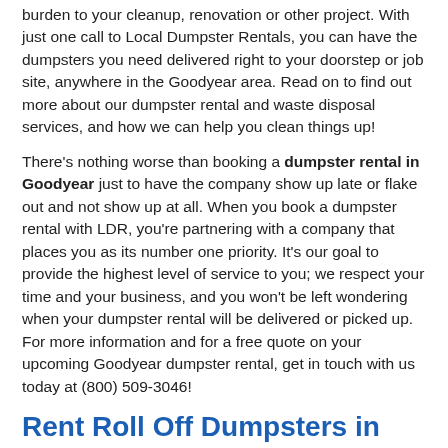burden to your cleanup, renovation or other project. With just one call to Local Dumpster Rentals, you can have the dumpsters you need delivered right to your doorstep or job site, anywhere in the Goodyear area. Read on to find out more about our dumpster rental and waste disposal services, and how we can help you clean things up!
There's nothing worse than booking a dumpster rental in Goodyear just to have the company show up late or flake out and not show up at all. When you book a dumpster rental with LDR, you're partnering with a company that places you as its number one priority. It's our goal to provide the highest level of service to you; we respect your time and your business, and you won't be left wondering when your dumpster rental will be delivered or picked up. For more information and for a free quote on your upcoming Goodyear dumpster rental, get in touch with us today at (800) 509-3046!
Rent Roll Off Dumpsters in Goodyear For Cheap
It never occurs to many homeowners that renting a dumpster is a cost-effective way to get rid of tons of junk. Whether you're...